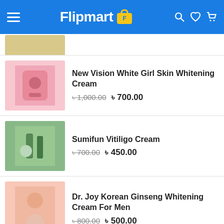Flipmart
[Figure (photo): Partially visible product image at top of list]
New Vision White Girl Skin Whitening Cream
৳ 1,000.00  ৳ 700.00
Sumifun Vitiligo Cream
৳ 700.00  ৳ 450.00
Dr. Joy Korean Ginseng Whitening Cream For Men
৳ 800.00  ৳ 500.00
L Gluta 5 Berry Plus Whitening Capsule
৳ 1,200.00  ৳ 850.00
FEATURED